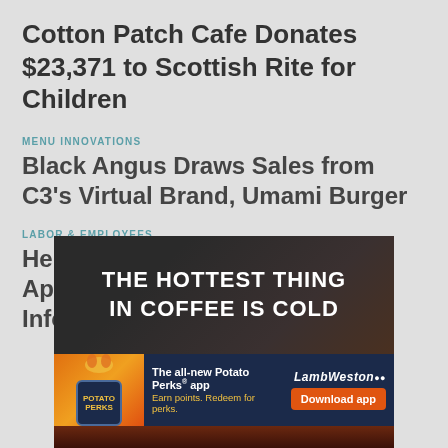Cotton Patch Cafe Donates $23,371 to Scottish Rite for Children
MENU INNOVATIONS
Black Angus Draws Sales from C3's Virtual Brand, Umami Burger
LABOR & EMPLOYEES
Heritage Restaurant Brands Appoints David Austin as VP of Information Technology
[Figure (photo): Advertisement: 'The Hottest Thing in Coffee is Cold' — dark background with coffee imagery]
[Figure (photo): Lamb Weston banner ad: 'The all-new Potato Perks app — Earn points. Redeem for perks. Download app']